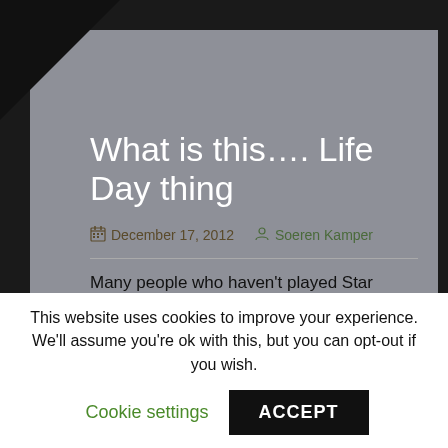What is this…. Life Day thing
December 17, 2012   Soeren Kamper
Many people who haven't played Star Wars: Galaxies, or are not much into the whole Star Wars lore, might have a hard time understanding what this whole Life Day business is all about. People who played Star Wars: Galaxies already knows all about this, but if you haven't played SWG, I can tell you that Life Day was an ingame event. It was the SWG version of Christmas. Every year 2 gifts were
This website uses cookies to improve your experience. We'll assume you're ok with this, but you can opt-out if you wish. Cookie settings ACCEPT